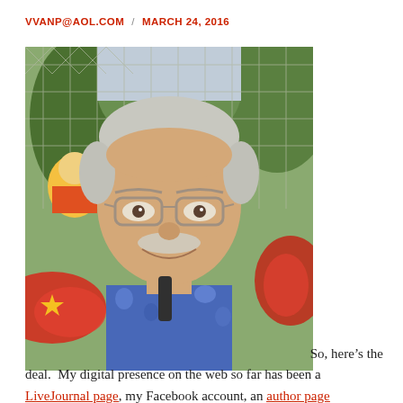VVANP@AOL.COM  /  MARCH 24, 2016
[Figure (photo): A smiling middle-aged man with gray hair and a mustache wearing glasses and a blue floral shirt, standing in front of a chain-link fence with colorful carnival decorations and trees in the background.]
So, here’s the deal.  My digital presence on the web so far has been a LiveJournal page, my Facebook account, an author page